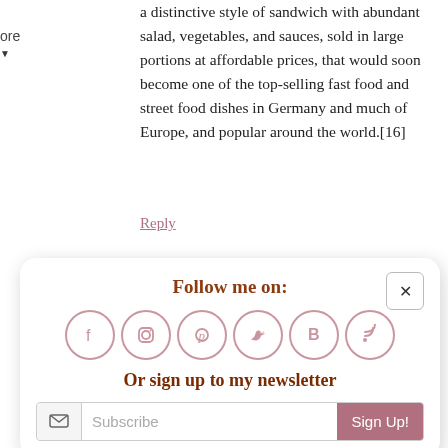a distinctive style of sandwich with abundant salad, vegetables, and sauces, sold in large portions at affordable prices, that would soon become one of the top-selling fast food and street food dishes in Germany and much of Europe, and popular around the world.[16]
Reply
[Figure (infographic): Follow me on: popup card with social media icons (Facebook, Instagram, Pinterest, Twitter, Bloglovin, RSS), newsletter signup field and Sign Up button, and close button.]
July 13, 2018 at 10:23 pm